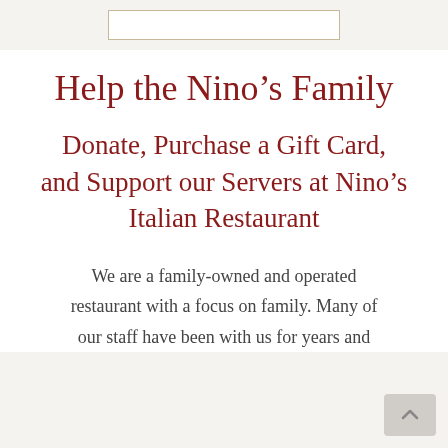[Figure (other): Logo box placeholder at top of page]
Help the Nino’s Family
Donate, Purchase a Gift Card, and Support our Servers at Nino’s Italian Restaurant
We are a family-owned and operated restaurant with a focus on family. Many of our staff have been with us for years and